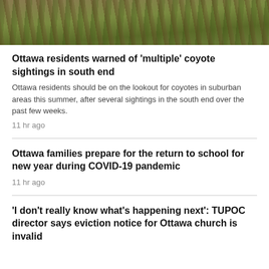[Figure (photo): Photo of a coyote or deer in grass/vegetation, cropped showing lower body and surrounding greenery]
Ottawa residents warned of 'multiple' coyote sightings in south end
Ottawa residents should be on the lookout for coyotes in suburban areas this summer, after several sightings in the south end over the past few weeks.
11 hr ago
Ottawa families prepare for the return to school for new year during COVID-19 pandemic
11 hr ago
'I don't really know what's happening next': TUPOC director says eviction notice for Ottawa church is invalid